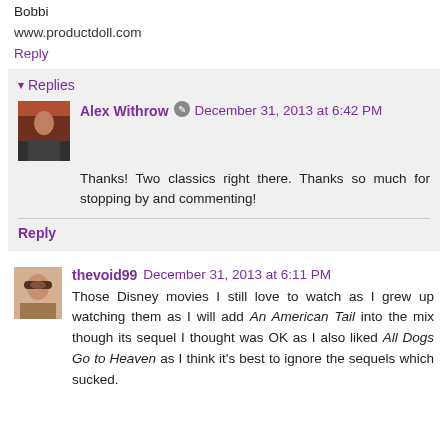Bobbi
www.productdoll.com
Reply
Replies
Alex Withrow  December 31, 2013 at 6:42 PM
Thanks! Two classics right there. Thanks so much for stopping by and commenting!
Reply
thevoid99  December 31, 2013 at 6:11 PM
Those Disney movies I still love to watch as I grew up watching them as I will add An American Tail into the mix though its sequel I thought was OK as I also liked All Dogs Go to Heaven as I think it's best to ignore the sequels which sucked.